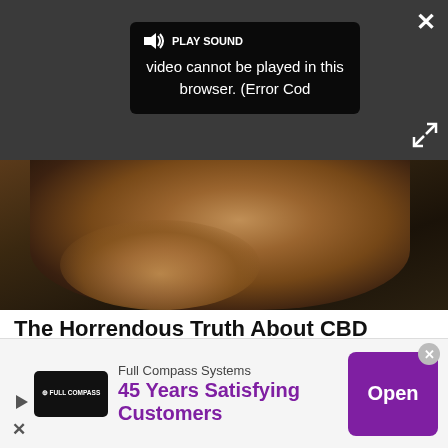[Figure (screenshot): Video player overlay showing 'PLAY SOUND' button and error message 'video cannot be played in this browser. (Error Cod' on dark background with close (X) and expand buttons]
[Figure (photo): Photo of an elderly bearded man, partially visible below video overlay]
The Horrendous Truth About CBD
Tommy Chong's CBD
Shop Now
[Figure (photo): Partial photo visible at bottom of content area]
Full Compass Systems
45 Years Satisfying Customers
Open